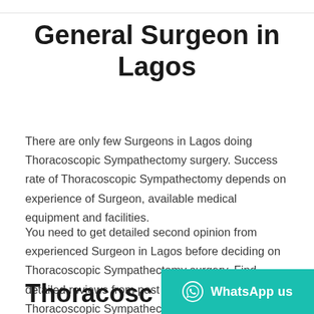General Surgeon in Lagos
There are only few Surgeons in Lagos doing Thoracoscopic Sympathectomy surgery. Success rate of Thoracoscopic Sympathectomy depends on experience of Surgeon, available medical equipment and facilities.
You need to get detailed second opinion from experienced Surgeon in Lagos before deciding on Thoracoscopic Sympathectomy surgery. Find detailed reviews from past patients who has done Thoracoscopic Sympathectomy in Lagos.
Thoracosc…